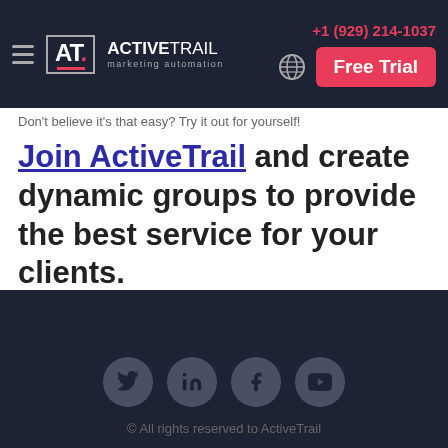+1 (929) 214-1037 | ActiveTrail marketing automation | Free Trial
Don't believe it's that easy? Try it out for yourself!
Join ActiveTrail and create dynamic groups to provide the best service for your clients.
© All rights reserved to ActiveTrail